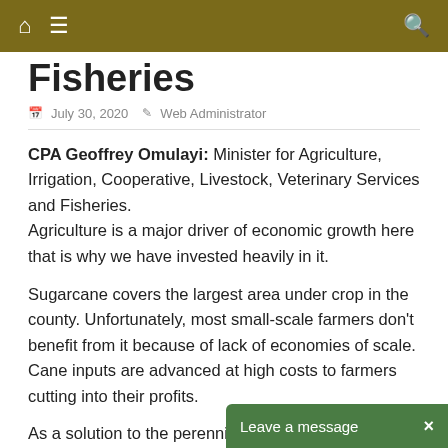🏠 ≡  🔍
Fisheries
July 30, 2020  Web Administrator
CPA Geoffrey Omulayi:  Minister for Agriculture, Irrigation, Cooperative, Livestock, Veterinary Services and Fisheries.
Agriculture is a major driver of economic growth here that is why we have invested heavily in it.
Sugarcane covers the largest area under crop in the county. Unfortunately, most small-scale farmers don't benefit from it because of lack of economies of scale. Cane inputs are advanced at high costs to farmers cutting into their profits.
As a solution to the perennial problems, we will undertake to offer these farmers options like horticulture and dairy farming…